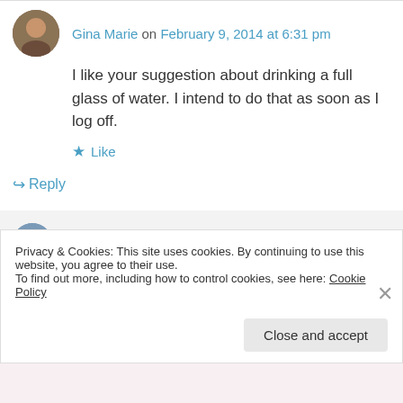Gina Marie on February 9, 2014 at 6:31 pm
I like your suggestion about drinking a full glass of water. I intend to do that as soon as I log off.
★ Like
↪ Reply
ilonca84 on February 9, 2014 at 8:23 pm
Privacy & Cookies: This site uses cookies. By continuing to use this website, you agree to their use.
To find out more, including how to control cookies, see here: Cookie Policy
Close and accept